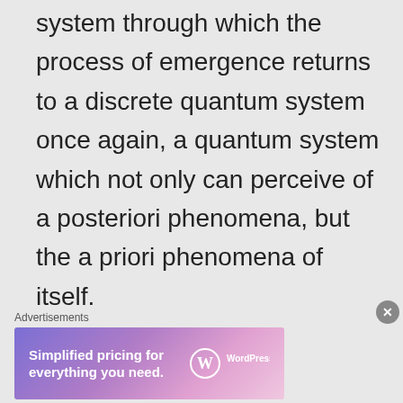but as an unlimited quantum system through which the process of emergence returns to a discrete quantum system once again, a quantum system which not only can perceive of a posteriori phenomena, but the a priori phenomena of itself.

Like the idea or not, an emergent, discrete physical reality makes the perfect
Advertisements
[Figure (other): WordPress.com advertisement banner: 'Simplified pricing for everything you need.' with WordPress.com logo]